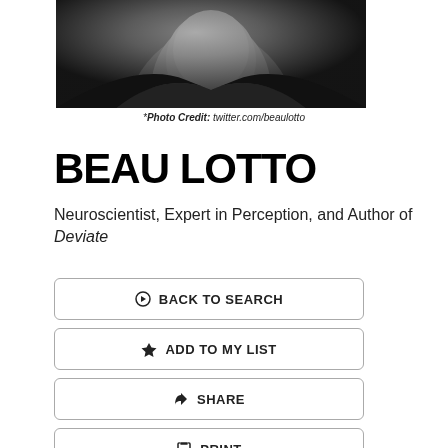[Figure (photo): Black and white portrait photo of Beau Lotto, partially cropped at top]
*Photo Credit: twitter.com/beaulotto
BEAU LOTTO
Neuroscientist, Expert in Perception, and Author of Deviate
BACK TO SEARCH
ADD TO MY LIST
SHARE
PRINT